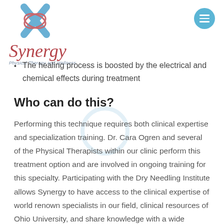[Figure (logo): Synergy Physical Therapy and Wellness logo with stylized X and text]
[Figure (other): Hamburger menu button (three horizontal lines in a blue circle)]
The healing process is boosted by the electrical and chemical effects during treatment
Who can do this?
Performing this technique requires both clinical expertise and specialization training. Dr. Cara Ogren and several of the Physical Therapists within our clinic perform this treatment option and are involved in ongoing training for this specialty. Participating with the Dry Needling Institute allows Synergy to have access to the clinical expertise of world renown specialists in our field, clinical resources of Ohio University, and share knowledge with a wide network of other physical therapists across the globe. Physical Therapist Assistants,